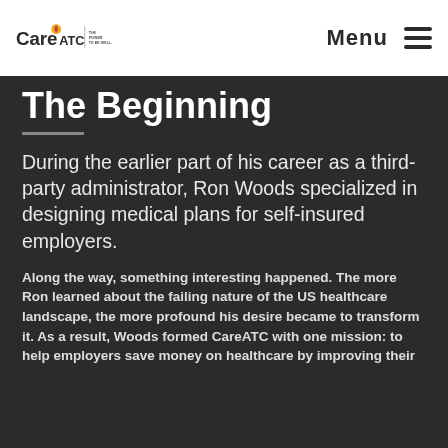CareATC | THE POWER TO BE WELL. Menu
The Beginning
During the earlier part of his career as a third-party administrator, Ron Woods specialized in designing medical plans for self-insured employers.
Along the way, something interesting happened. The more Ron learned about the failing nature of the US healthcare landscape, the more profound his desire became to transform it. As a result, Woods formed CareATC with one mission: to help employers save money on healthcare by improving their